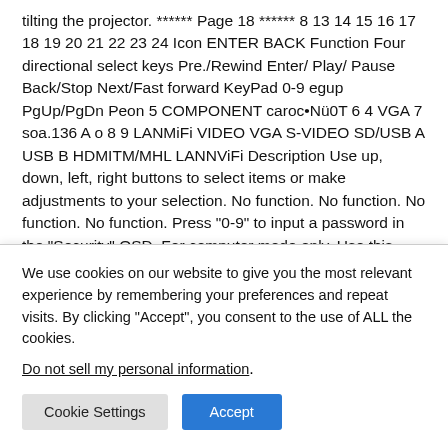tilting the projector. ****** Page 18 ****** 8 13 14 15 16 17 18 19 20 21 22 23 24 Icon ENTER BACK Function Four directional select keys Pre./Rewind Enter/ Play/ Pause Back/Stop Next/Fast forward KeyPad 0-9 egup PgUp/PgDn Peon 5 COMPONENT caroc•Nü0T 6 4 VGA 7 soa.136 A o 8 9 LANMiFi VIDEO VGA S-VIDEO SD/USB A USB B HDMITM/MHL LANNViFi Description Use up, down, left, right buttons to select items or make adjustments to your selection. No function. No function. No function. No function. Press "0-9" to input a password in the "Security" OSD. For computer mode only. Use this button to select the next or previous page. This function is only available
We use cookies on our website to give you the most relevant experience by remembering your preferences and repeat visits. By clicking "Accept", you consent to the use of ALL the cookies.
Do not sell my personal information.
Cookie Settings  Accept